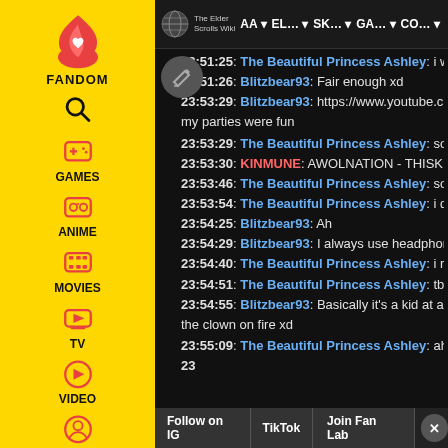[Figure (screenshot): Fandom sidebar with logo, FANDOM label, and navigation icons for GAMES, ANIME, MOVIES, TV, VIDEO, and user profile]
The Elder Scrolls Wiki | AA | EL... | SK... | GA... | CO...
23:51:25: The Beautiful Princess Ashley: i wan
23:51:26: Blitzbear93: Fair enough xd
23:53:29: Blitzbear93: https://www.youtube.c
my parties were fun
23:53:29: The Beautiful Princess Ashley: so ar
23:53:30: KINMUNE: AWOLNATION - THISKIDS
23:53:46: The Beautiful Princess Ashley: sorry
23:53:54: The Beautiful Princess Ashley: i don
23:54:25: Blitzbear93: Ah
23:54:29: Blitzbear93: I always use headphone
23:54:40: The Beautiful Princess Ashley: i rare
23:54:51: The Beautiful Princess Ashley: tbh i
23:54:55: Blitzbear93: Basically it's a kid at a b
the clown on fire xd
23:55:09: The Beautiful Princess Ashley: ah lo
23:
Follow on IG | TikTok | Join Fan Lab | X